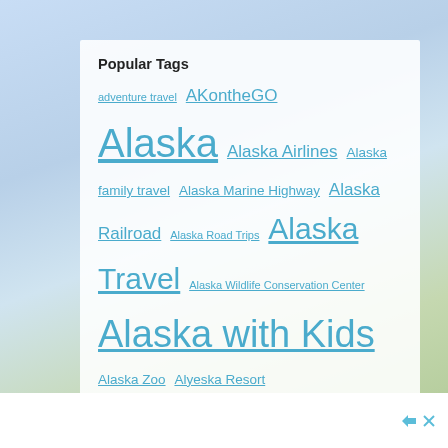Popular Tags
adventure travel AKontheGO Alaska Alaska Airlines Alaska family travel Alaska Marine Highway Alaska Railroad Alaska Road Trips Alaska Travel Alaska Wildlife Conservation Center Alaska with Kids Alaska Zoo Alyeska Resort Anchorage Anchorage Museum Camping Camping with Kids Denali National Park Fairbanks Family Fun Family Travel get outdoors Great Alaskan Holidays Hiking Hiking With Kids Homer Iditarod Juneau Kenai Peninsula Kids Outdoor Families road trips RV travel Seward Sitka Skiing Sled Dogs Southeast Alaska Talkeetna Travel travel Alaska Travel With Kids Valdez Visit Anchorage wildlife